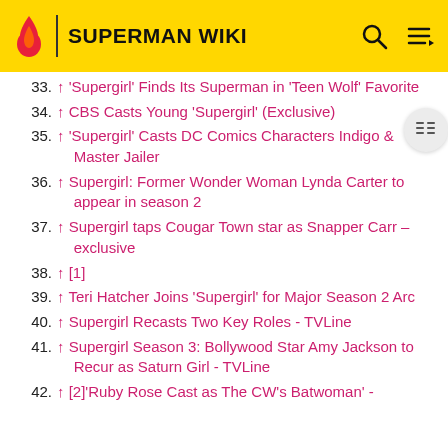SUPERMAN WIKI
33. ↑ 'Supergirl' Finds Its Superman in 'Teen Wolf' Favorite
34. ↑ CBS Casts Young 'Supergirl' (Exclusive)
35. ↑ 'Supergirl' Casts DC Comics Characters Indigo & Master Jailer
36. ↑ Supergirl: Former Wonder Woman Lynda Carter to appear in season 2
37. ↑ Supergirl taps Cougar Town star as Snapper Carr – exclusive
38. ↑ [1]
39. ↑ Teri Hatcher Joins 'Supergirl' for Major Season 2 Arc
40. ↑ Supergirl Recasts Two Key Roles - TVLine
41. ↑ Supergirl Season 3: Bollywood Star Amy Jackson to Recur as Saturn Girl - TVLine
42. ↑ [2]'Ruby Rose Cast as The CW's Batwoman' -